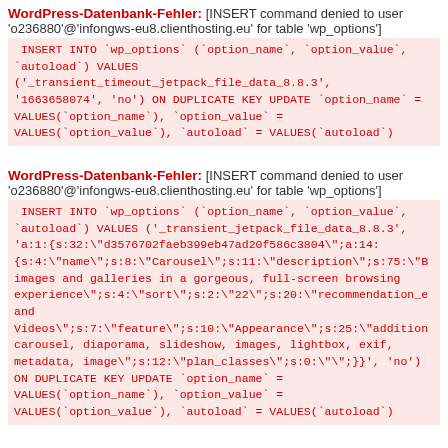WordPress-Datenbank-Fehler: [INSERT command denied to user 'o236880'@'infongws-eu8.clienthosting.eu' for table 'wp_options']
INSERT INTO `wp_options` (`option_name`, `option_value`, `autoload`) VALUES
('_transient_timeout_jetpack_file_data_8.8.3',
'1663658074', 'no') ON DUPLICATE KEY UPDATE `option_name` =
VALUES(`option_name`), `option_value` =
VALUES(`option_value`), `autoload` = VALUES(`autoload`)
WordPress-Datenbank-Fehler: [INSERT command denied to user 'o236880'@'infongws-eu8.clienthosting.eu' for table 'wp_options']
INSERT INTO `wp_options` (`option_name`, `option_value`, `autoload`) VALUES ('_transient_jetpack_file_data_8.8.3',
'a:1:{s:32:"d3576702faeb399eb47ad20f586c3804";a:14:
{s:4:"name";s:8:"Carousel";s:11:"description";s:75:"B
images and galleries in a gorgeous, full-screen browsing
experience";s:4:"sort";s:2:"22";s:20:"recommendation_e
and
Videos";s:7:"feature";s:10:"Appearance";s:25:"addition
carousel, diaporama, slideshow, images, lightbox, exif,
metadata, image";s:12:"plan_classes";s:0:"";}}', 'no')
ON DUPLICATE KEY UPDATE `option_name` =
VALUES(`option_name`), `option_value` =
VALUES(`option_value`), `autoload` = VALUES(`autoload`)